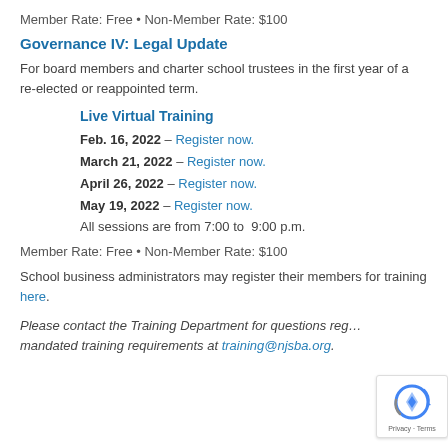Member Rate: Free • Non-Member Rate: $100
Governance IV: Legal Update
For board members and charter school trustees in the first year of a re-elected or reappointed term.
Live Virtual Training
Feb. 16, 2022 – Register now.
March 21, 2022 – Register now.
April 26, 2022 – Register now.
May 19, 2022 – Register now.
All sessions are from 7:00 to 9:00 p.m.
Member Rate: Free • Non-Member Rate: $100
School business administrators may register their members for training here.
Please contact the Training Department for questions regarding mandated training requirements at training@njsba.org.
[Figure (logo): reCAPTCHA badge with Privacy and Terms]